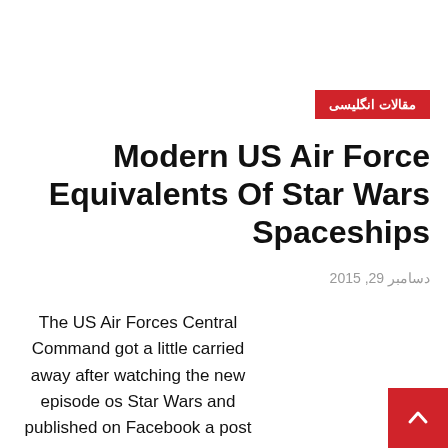مقالات انگلیسی
Modern US Air Force Equivalents Of Star Wars Spaceships
دسامبر 29, 2015
The US Air Forces Central Command got a little carried away after watching the new episode os Star Wars and published on Facebook a post comparing some of their ...most famous aircraft to